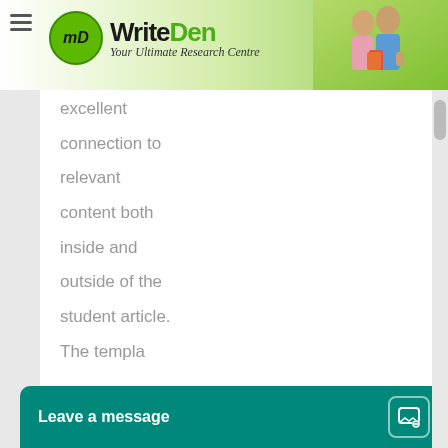[Figure (logo): WriteDen logo with green circle, brand name, tagline 'Your Ultimate Research Centre', and students photo on header banner]
excellent

connection to

relevant

content both

inside and

outside of the

student article.

The templa
[Figure (screenshot): Chat widget popup at bottom of page with text 'Leave a message' and chat bubble icon on teal background]